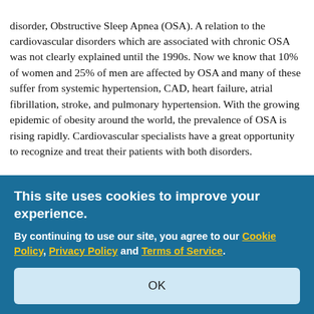disorder, Obstructive Sleep Apnea (OSA). A relation to the cardiovascular disorders which are associated with chronic OSA was not clearly explained until the 1990s. Now we know that 10% of women and 25% of men are affected by OSA and many of these suffer from systemic hypertension, CAD, heart failure, atrial fibrillation, stroke, and pulmonary hypertension. With the growing epidemic of obesity around the world, the prevalence of OSA is rising rapidly. Cardiovascular specialists have a great opportunity to recognize and treat their patients with both disorders.
According to a survey of 100 clinical cardiologists, referral rates to a sleep center average seven or fewer per month, or almost 2% of the patients with both cardiovascular disease and OSA. Two-thirds have incorporated an assessment of sleep-disordered breathing (SDB) during a patient visit. They agree that diabetes mellitus is the most critical medical disorder they see, and that blood pressure and hypertension prevalence is 21-50% of their patients. Two-thirds of cardiologists would refer patients to a sleep specialist if guidelines recommended it, and some practitioners in 2008, which could increase referrals to a sleep specialist by 43%. One treatment of OSA should be referrals.
This site uses cookies to improve your experience.
By continuing to use our site, you agree to our Cookie Policy, Privacy Policy and Terms of Service.